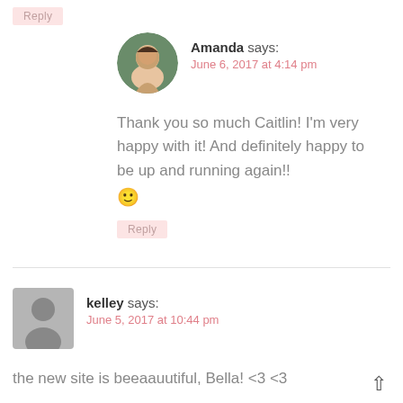Reply (top button)
[Figure (photo): Circular avatar photo of Amanda, a woman with dark hair]
Amanda says:
June 6, 2017 at 4:14 pm
Thank you so much Caitlin! I'm very happy with it! And definitely happy to be up and running again!!
🙂
Reply (under Amanda comment)
[Figure (photo): Gray silhouette placeholder avatar for kelley]
kelley says:
June 5, 2017 at 10:44 pm
the new site is beeaauutiful, Bella! <3 <3
Reply (under kelley comment)
[Figure (photo): Circular avatar photo of Amanda at bottom of page]
Amanda says: